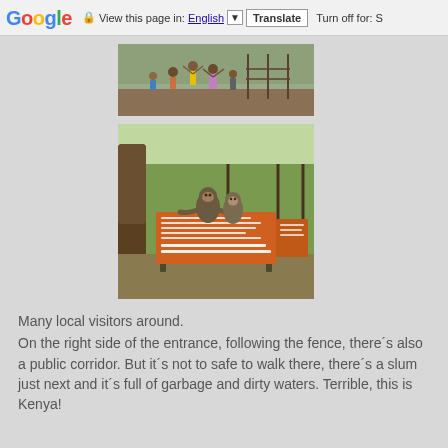Google | View this page in: English [▼] Translate | Turn off for: S
[Figure (photo): Photo of local visitors/children at what appears to be an outdoor area with a fence, some holding arms up]
[Figure (photo): Photo of baboons/monkeys sitting on an orange information/notice sign board at what appears to be a park entrance, with green vegetation in the background]
Many local visitors around.
On the right side of the entrance, following the fence, there´s also a public corridor. But it´s not to safe to walk there, there´s a slum just next and it´s full of garbage and dirty waters. Terrible, this is Kenya!